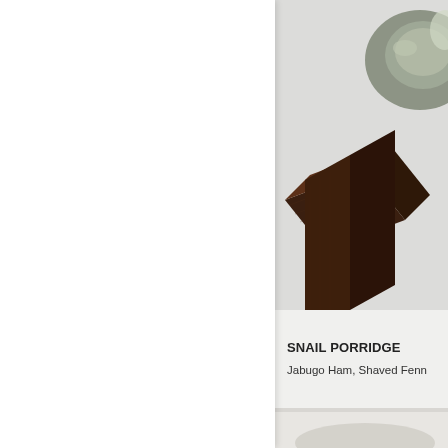[Figure (photo): Close-up photo of a dark walnut wood block or stand with a ceramic bowl (olive/sage green glaze) partially visible in upper right, set against a light gray background. The image is cropped to show the upper right portion of the page.]
SNAIL PORRIDGE
Jabugo Ham, Shaved Fenn
[Figure (photo): Partial photo visible at bottom of right panel, light colored, appears to be another dish or food item.]